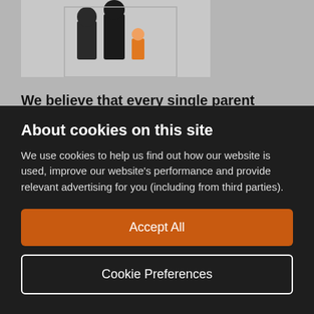[Figure (illustration): Partial illustration of figures/people at the top of the page, shown in a light grey box, cropped at the top edge.]
We believe that every single parent should have the tools and support to overcome the hurdles they face in their life. We want every single parent to be aware of the services we provide, and to know that we are just a phone call or a message away. We want them to have access to professional
About cookies on this site
We use cookies to help us find out how our website is used, improve our website's performance and provide relevant advertising for you (including from third parties).
Accept All
Cookie Preferences